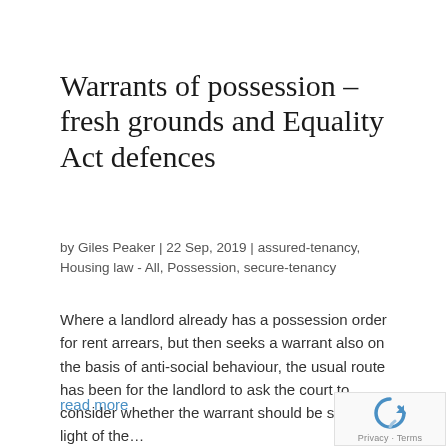Warrants of possession – fresh grounds and Equality Act defences
by Giles Peaker | 22 Sep, 2019 | assured-tenancy, Housing law - All, Possession, secure-tenancy
Where a landlord already has a possession order for rent arrears, but then seeks a warrant also on the basis of anti-social behaviour, the usual route has been for the landlord to ask the court to consider whether the warrant should be stayed in light of the…
read more